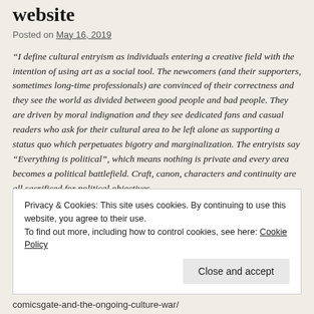website
Posted on May 16, 2019
“I define cultural entryism as individuals entering a creative field with the intention of using art as a social tool. The newcomers (and their supporters, sometimes long-time professionals) are convinced of their correctness and they see the world as divided between good people and bad people. They are driven by moral indignation and they see dedicated fans and casual readers who ask for their cultural area to be left alone as supporting a status quo which perpetuates bigotry and marginalization. The entryists say “Everything is political”, which means nothing is private and every area becomes a political battlefield. Craft, canon, characters and continuity are all sacrificed for political objectives.
“I’ve seen this happening in the fine-art field (I am an artist and art
Privacy & Cookies: This site uses cookies. By continuing to use this website, you agree to their use. To find out more, including how to control cookies, see here: Cookie Policy
Close and accept
comicsgate-and-the-ongoing-culture-war/